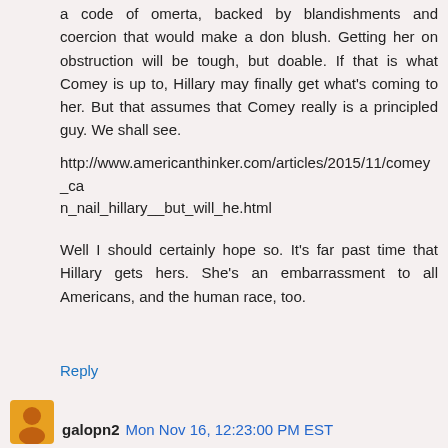a code of omerta, backed by blandishments and coercion that would make a don blush. Getting her on obstruction will be tough, but doable. If that is what Comey is up to, Hillary may finally get what's coming to her. But that assumes that Comey really is a principled guy. We shall see.
http://www.americanthinker.com/articles/2015/11/comey_can_nail_hillary__but_will_he.html
Well I should certainly hope so. It's far past time that Hillary gets hers. She's an embarrassment to all Americans, and the human race, too.
Reply
[Figure (illustration): User avatar for galopn2 - orange/amber colored circular avatar]
galopn2 Mon Nov 16, 12:23:00 PM EST